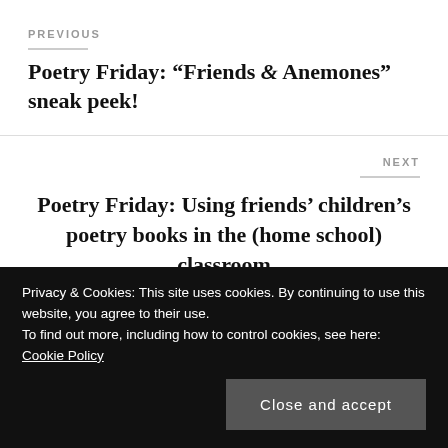PREVIOUS
Poetry Friday: “Friends & Anemones” sneak peek!
NEXT
Poetry Friday: Using friends’ children’s poetry books in the (home school) classroom
18 thoughts on “Poetry Friday:
Privacy & Cookies: This site uses cookies. By continuing to use this website, you agree to their use.
To find out more, including how to control cookies, see here: Cookie Policy
Close and accept